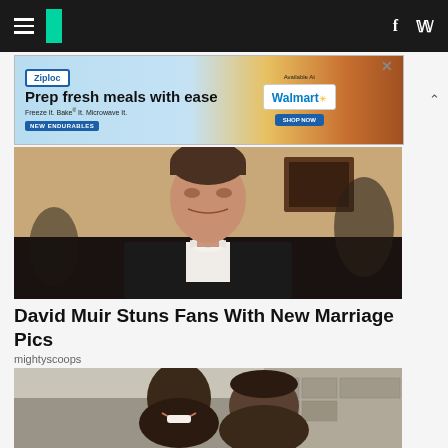HuffPost navigation header with menu, logo, Facebook and Twitter icons
[Figure (other): Ziploc advertisement banner: 'Prep fresh meals with ease. Freeze It. Bake It. Microwave It. NEW ENDURABLES. Available At Walmart']
[Figure (photo): Photo of a man in a black tuxedo with white bow tie, looking at camera]
David Muir Stuns Fans With New Marriage Pics
mightyscoops
[Figure (photo): Photo of a couple, a woman smiling being kissed on the cheek by a man, outdoors near a stone building]